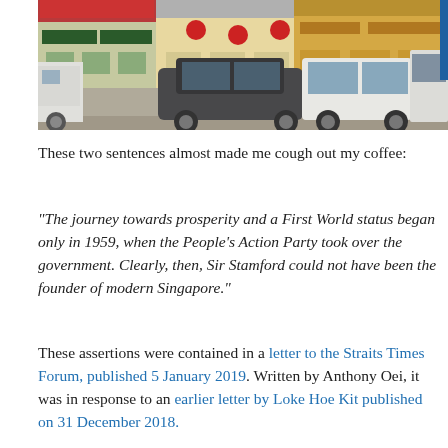[Figure (photo): Street scene in Singapore's Chinatown area showing parked cars including a dark Mercedes-Benz sedan and white vans, with colourful shophouses in the background decorated with red lanterns.]
These two sentences almost made me cough out my coffee:
“The journey towards prosperity and a First World status began only in 1959, when the People’s Action Party took over the government. Clearly, then, Sir Stamford could not have been the founder of modern Singapore.”
These assertions were contained in a letter to the Straits Times Forum, published 5 January 2019. Written by Anthony Oei, it was in response to an earlier letter by Loke Hoe Kit published on 31 December 2018.